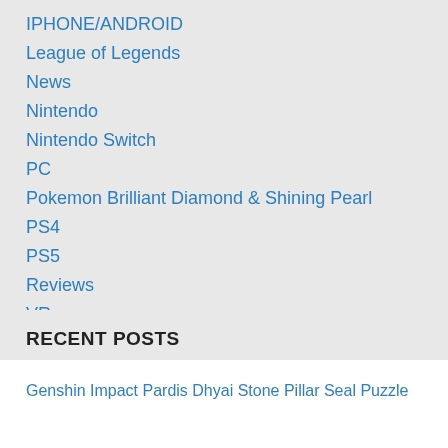IPHONE/ANDROID
League of Legends
News
Nintendo
Nintendo Switch
PC
Pokemon Brilliant Diamond & Shining Pearl
PS4
PS5
Reviews
VR
Xbox
Xbox One
Xbox Series X
RECENT POSTS
Genshin Impact Pardis Dhyai Stone Pillar Seal Puzzle